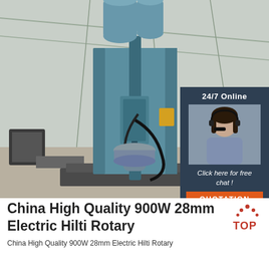[Figure (photo): Large industrial rotary drilling machine (blue/teal colored, tall vertical machine with two cylindrical containers on top) photographed inside a warehouse/factory building with metal roof structure visible. In the upper right corner of the image is an overlay panel showing a female customer service agent wearing a headset, with text '24/7 Online', 'Click here for free chat!', and an orange 'QUOTATION' button, all on a dark navy blue background.]
China High Quality 900W 28mm Electric Hilti Rotary
China High Quality 900W 28mm Electric Hilti Rotary